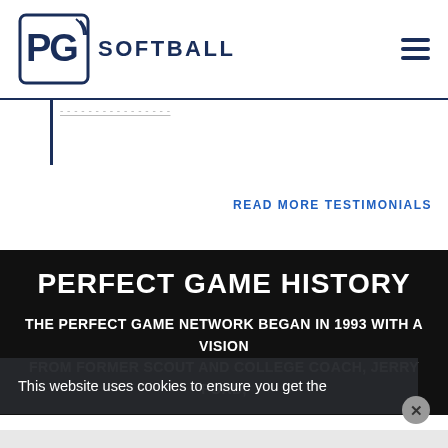PG SOFTBALL
READ MORE TESTIMONIALS
PERFECT GAME HISTORY
THE PERFECT GAME NETWORK BEGAN IN 1993 WITH A VISION FROM FORMER SCOUT AND COLLEGE COACH JERRY FORD.
This website uses cookies to ensure you get the